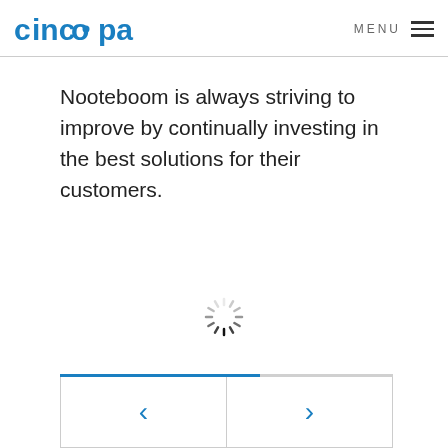cincopa | MENU
Nooteboom is always striving to improve by continually investing in the best solutions for their customers.
[Figure (other): Loading spinner (animated circular loading indicator)]
[Figure (other): Navigation controls: progress bar and previous/next arrow buttons]